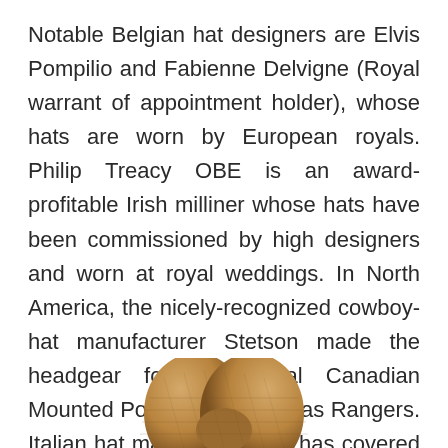Notable Belgian hat designers are Elvis Pompilio and Fabienne Delvigne (Royal warrant of appointment holder), whose hats are worn by European royals. Philip Treacy OBE is an award-profitable Irish milliner whose hats have been commissioned by high designers and worn at royal weddings. In North America, the nicely-recognized cowboy-hat manufacturer Stetson made the headgear for the Royal Canadian Mounted Police and the Texas Rangers. Italian hat maker Borsalino has covered the heads of Hollywood stars and the world's wealthy and famous.
[Figure (photo): Bottom portion of a straw or woven cowboy hat visible at the bottom center of the page]